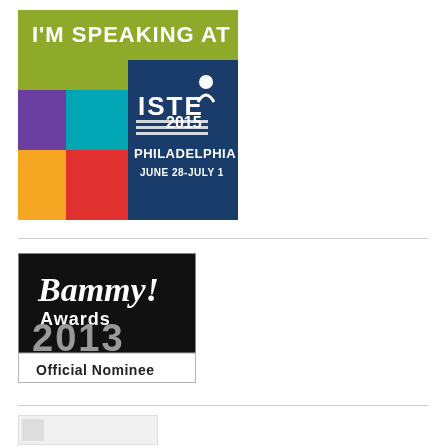[Figure (logo): ISTE 2015 Philadelphia June 28–July 1 'I'm Speaking At' badge with colorful tile design]
[Figure (logo): Bammy! Awards 2013 Official Nominee badge on black background]
[Figure (logo): Partially visible badge or image at bottom of page]